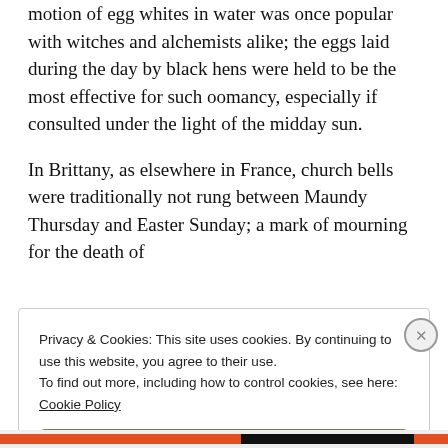motion of egg whites in water was once popular with witches and alchemists alike; the eggs laid during the day by black hens were held to be the most effective for such oomancy, especially if consulted under the light of the midday sun.
In Brittany, as elsewhere in France, church bells were traditionally not rung between Maundy Thursday and Easter Sunday; a mark of mourning for the death of
Privacy & Cookies: This site uses cookies. By continuing to use this website, you agree to their use.
To find out more, including how to control cookies, see here: Cookie Policy
Close and accept